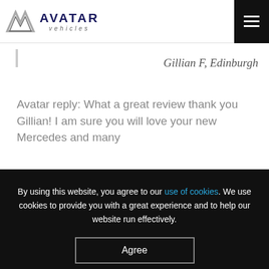Avatar vehicles — navigation header with hamburger menu
Gillian F, Edinburgh
Avatar reply: What a great review thank you Gillian! I am sure you will love your new Mercedes and many
By using this website, you agree to our use of cookies. We use cookies to provide you with a great experience and to help our website run effectively.
Agree